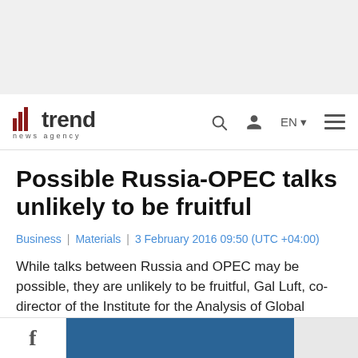[Figure (other): Gray banner area at top of page]
trend news agency — header with logo, search, user, EN language selector, and hamburger menu
Possible Russia-OPEC talks unlikely to be fruitful
Business | Materials | 3 February 2016 09:50 (UTC +04:00)
While talks between Russia and OPEC may be possible, they are unlikely to be fruitful, Gal Luft, co-director of the Institute for the Analysis of Global Security (IAGS), told Trend Feb. 2.
[Figure (other): Bottom strip with Facebook icon and blue/gray decorative strip]